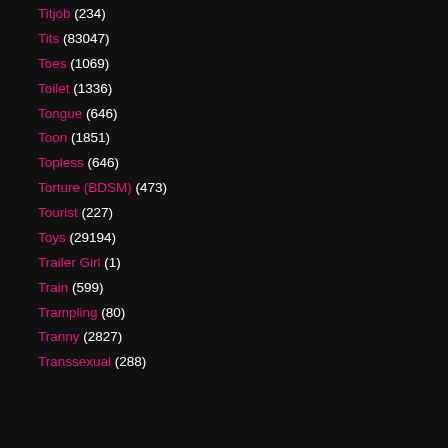Titjob (234)
Tits (83047)
Toes (1069)
Toilet (1336)
Tongue (646)
Toon (1851)
Topless (646)
Torture (BDSM) (473)
Tourist (227)
Toys (29194)
Trailer Girl (1)
Train (599)
Trampling (80)
Tranny (2827)
Transsexual (288)